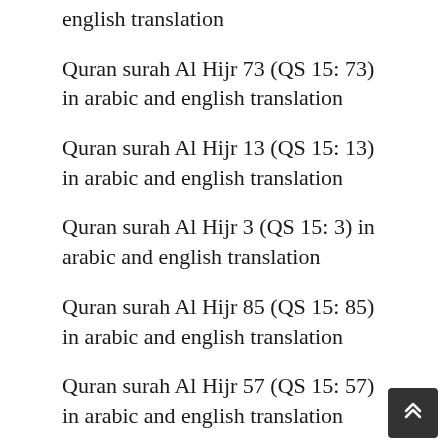english translation
Quran surah Al Hijr 73 (QS 15: 73) in arabic and english translation
Quran surah Al Hijr 13 (QS 15: 13) in arabic and english translation
Quran surah Al Hijr 3 (QS 15: 3) in arabic and english translation
Quran surah Al Hijr 85 (QS 15: 85) in arabic and english translation
Quran surah Al Hijr 57 (QS 15: 57) in arabic and english translation